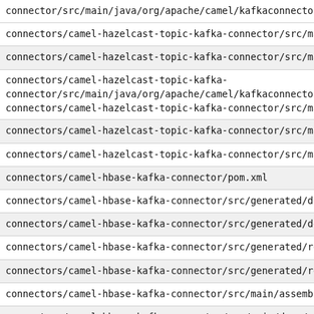connector/src/main/java/org/apache/camel/kafkaconnector/haze
connectors/camel-hazelcast-topic-kafka-connector/src/main/ja
connectors/camel-hazelcast-topic-kafka-connector/src/main/ja
connectors/camel-hazelcast-topic-kafka-connector/src/main/java/org/apache/camel/kafkaconnector/haze
connectors/camel-hazelcast-topic-kafka-connector/src/main/ja
connectors/camel-hazelcast-topic-kafka-connector/src/main/re
connectors/camel-hazelcast-topic-kafka-connector/src/main/re
connectors/camel-hbase-kafka-connector/pom.xml
connectors/camel-hbase-kafka-connector/src/generated/descrip
connectors/camel-hbase-kafka-connector/src/generated/descrip
connectors/camel-hbase-kafka-connector/src/generated/resourc
connectors/camel-hbase-kafka-connector/src/generated/resourc
connectors/camel-hbase-kafka-connector/src/main/assembly/pac
connectors/camel-hbase-kafka-connector/src/main/docs/example
connectors/camel-hbase-kafka-connector/src/main/docs/example
connectors/camel-hbase-kafka-connector/src/main/java/org/apa
connectors/camel-hbase-kafka-connector/src/main/java/org/apa
connectors/camel-hbase-kafka-connector/src/main/java/org/apa